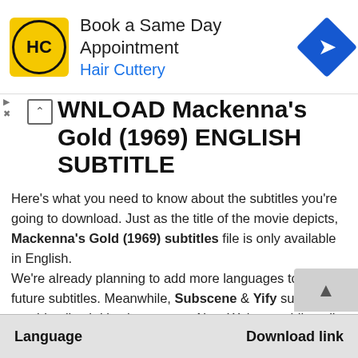[Figure (infographic): Advertisement banner: Hair Cuttery logo (yellow circle with HC text), 'Book a Same Day Appointment' heading, 'Hair Cuttery' subtext in blue, blue diamond arrow icon on the right.]
DOWNLOAD Mackenna's Gold (1969) ENGLISH SUBTITLE
Here's what you need to know about the subtitles you're going to download. Just as the title of the movie depicts, Mackenna's Gold (1969) subtitles file is only available in English.
We're already planning to add more languages to our future subtitles. Meanwhile, Subscene & Yify subtitles provide all subtitles languages. Also, We're providing all language subtitles.
| Language | Download link |
| --- | --- |